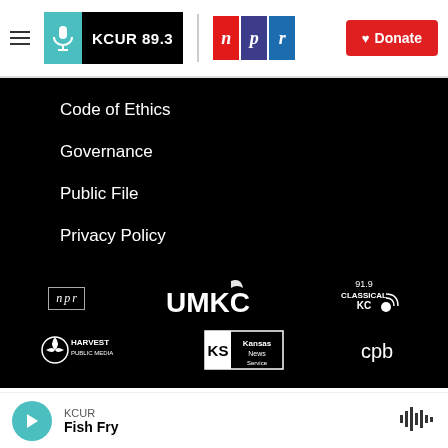KCUR 89.3 | NPR | Donate
Code of Ethics
Governance
Public File
Privacy Policy
[Figure (logo): NPR logo (n p r in red, indigo, blue boxes)]
[Figure (logo): UMKC logo in white]
[Figure (logo): 91.9 Classical KC logo in white]
[Figure (logo): Harvest Public Media logo in white]
[Figure (logo): KS Kansas News Service logo in white]
[Figure (logo): cpb logo in white]
KCUR Fish Fry — audio player bar